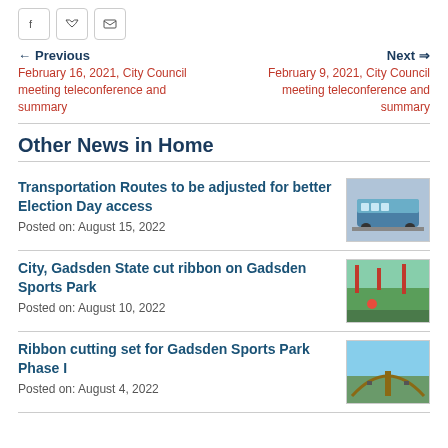[Figure (illustration): Social media share icons: Facebook, Twitter, Email]
← Previous
February 16, 2021, City Council meeting teleconference and summary
Next ⇒
February 9, 2021, City Council meeting teleconference and summary
Other News in Home
Transportation Routes to be adjusted for better Election Day access
Posted on: August 15, 2022
[Figure (photo): Photo of a blue bus or transportation vehicle on a road]
City, Gadsden State cut ribbon on Gadsden Sports Park
Posted on: August 10, 2022
[Figure (photo): Photo of a sports field with flags and a red ball]
Ribbon cutting set for Gadsden Sports Park Phase I
Posted on: August 4, 2022
[Figure (photo): Photo of an arch entrance at Gadsden Sports Park under a cloudy sky]